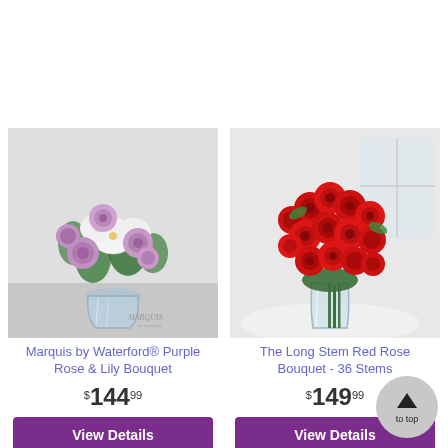[Figure (photo): Purple roses and white lilies in a crystal Marquis by Waterford vase on a table, with green foliage, soft grey background. Watermark reads MARQUIS.]
Marquis by Waterford® Purple Rose & Lily Bouquet
$144.99
View Details
[Figure (photo): 36 long stem red roses in a tall clear glass vase on a white round table, bright red blooms, green stems, white background with window.]
The Long Stem Red Rose Bouquet - 36 Stems
$149.99
View Details
to top